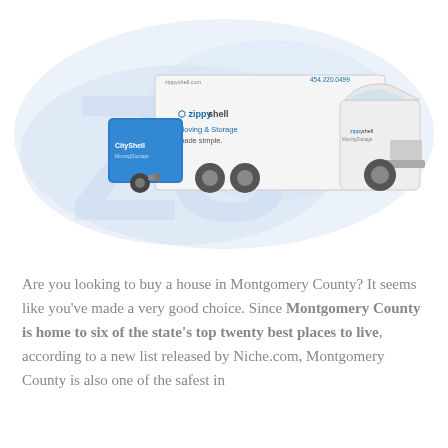[Figure (photo): Zippy Shell moving truck with blue storage container pod attached, on a white background with light blue abstract blob shapes. The truck is white with 'zippy shell - Moving & Storage made simple.' branding. Phone number 454.220.0499 visible on top. Blue container pod labeled 'CityShell' is being towed.]
Are you looking to buy a house in Montgomery County? It seems like you've made a very good choice. Since Montgomery County is home to six of the state's top twenty best places to live, according to a new list released by Niche.com, Montgomery County is also one of the safest in